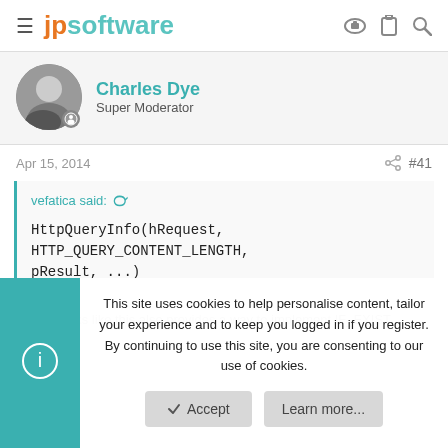jpsoftware
[Figure (photo): Circular avatar photo of Charles Dye, a man in a suit]
Charles Dye
Super Moderator
Apr 15, 2014   #41
vefatica said: ↺

HttpQueryInfo(hRequest, HTTP_QUERY_CONTENT_LENGTH, pResult, ...)
Heh. It looks like this also provides a way to implement IF_EXIST...
This site uses cookies to help personalise content, tailor your experience and to keep you logged in if you register.
By continuing to use this site, you are consenting to our use of cookies.